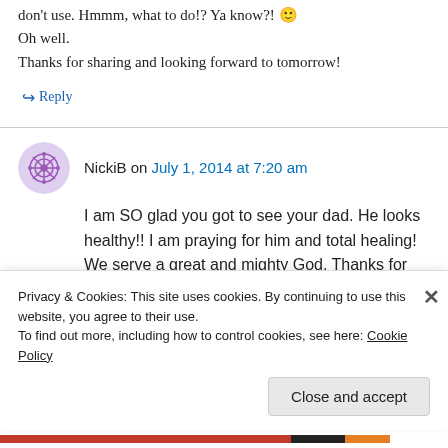don't use. Hmmm, what to do!? Ya know?! 🙂 Oh well.
Thanks for sharing and looking forward to tomorrow!
↪ Reply
NickiB on July 1, 2014 at 7:20 am
I am SO glad you got to see your dad. He looks healthy!! I am praying for him and total healing! We serve a great and mighty God. Thanks for
Privacy & Cookies: This site uses cookies. By continuing to use this website, you agree to their use.
To find out more, including how to control cookies, see here: Cookie Policy
Close and accept